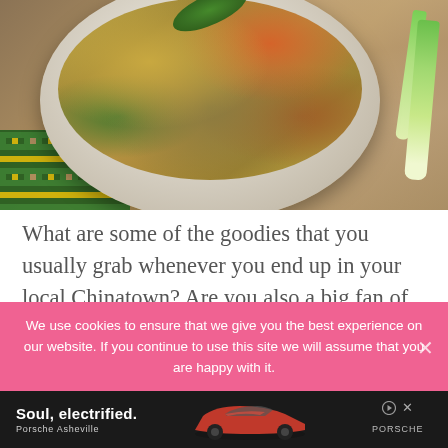[Figure (photo): Bowl of shrimp fried rice with green garnish on top, placed on a plaid cloth and wooden surface, with green onions beside the bowl]
What are some of the goodies that you usually grab whenever you end up in your local Chinatown? Are you also a big fan of egg rolls?
We use cookies to ensure that we give you the best experience on our website. If you continue to use this site we will assume that you are happy with it.
[Figure (screenshot): Porsche advertisement banner showing 'Soul, electrified.' tagline with a red Porsche Taycan electric car and Porsche Asheville dealer name]